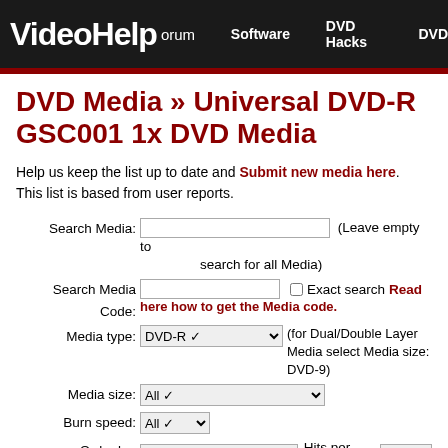VideoHelp orum  Software  DVD Hacks  DVD
DVD Media » Universal DVD-R GSC001 1x DVD Media
Help us keep the list up to date and Submit new media here. This list is based from user reports.
Search Media: (Leave empty to search for all Media)
Search Media Code: Exact search Read here how to get the Media code.
Media type: DVD-R (for Dual/Double Layer Media select Media size: DVD-9)
Media size: All
Burn speed: All
Order by: Name  Hits per page  50
+ List all search options, search by DVD